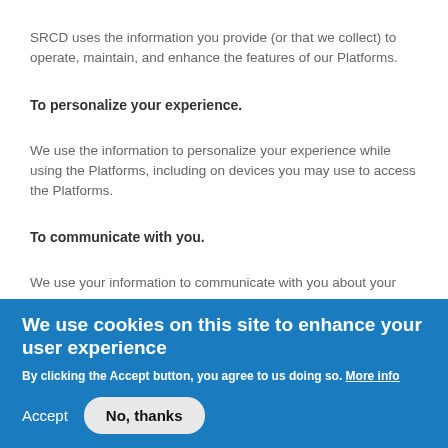SRCD uses the information you provide (or that we collect) to operate, maintain, and enhance the features of our Platforms.
To personalize your experience.
We use the information to personalize your experience while using the Platforms, including on devices you may use to access the Platforms.
To communicate with you.
We use your information to communicate with you about your
We use cookies on this site to enhance your user experience
By clicking the Accept button, you agree to us doing so. More info
Accept   No, thanks